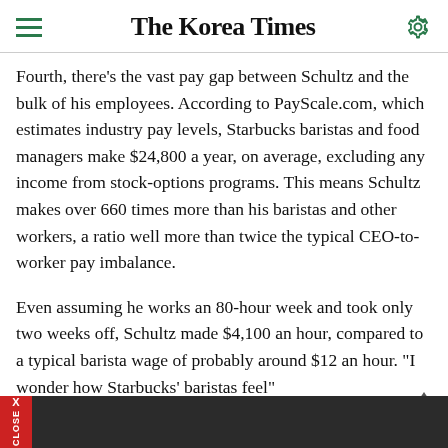The Korea Times
Fourth, there's the vast pay gap between Schultz and the bulk of his employees. According to PayScale.com, which estimates industry pay levels, Starbucks baristas and food managers make $24,800 a year, on average, excluding any income from stock-options programs. This means Schultz makes over 660 times more than his baristas and other workers, a ratio well more than twice the typical CEO-to-worker pay imbalance.
Even assuming he works an 80-hour week and took only two weeks off, Schultz made $4,100 an hour, compared to a typical barista wage of probably around $12 an hour. "I wonder how Starbucks' baristas feel"